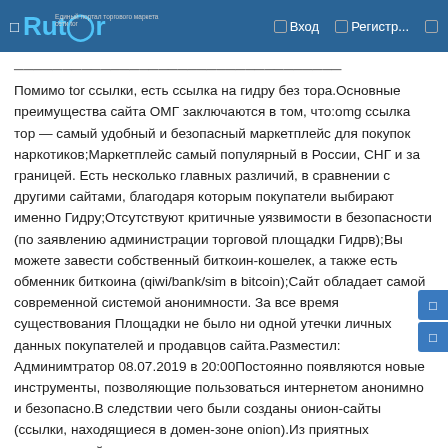Rutor — Вход — Регистр...
Помимо tor ссылки, есть ссылка на гидру без тора.Основные преимущества сайта ОМГ заключаются в том, что:omg ссылка тор — самый удобный и безопасный маркетплейс для покупок наркотиков;Маркетплейс самый популярный в России, СНГ и за границей. Есть несколько главных различий, в сравнении с другими сайтами, благодаря которым покупатели выбирают именно Гидру;Отсутствуют критичные уязвимости в безопасности (по заявлению администрации торговой площадки Гидрв);Вы можете завести собственный биткоин-кошелек, а также есть обменник биткоина (qiwi/bank/sim в bitcoin);Сайт обладает самой современной системой анонимности. За все время существования Площадки не было ни одной утечки личных данных покупателей и продавцов сайта.Разместил: Админимтратор 08.07.2019 в 20:00Постоянно появляются новые инструменты, позволяющие пользоваться интернетом анонимно и безопасно.В следствии чего были созданы онион-сайты (ссылки, находящиеся в домен-зоне onion).Из приятных нововведений:не надо ожидать подтверждения